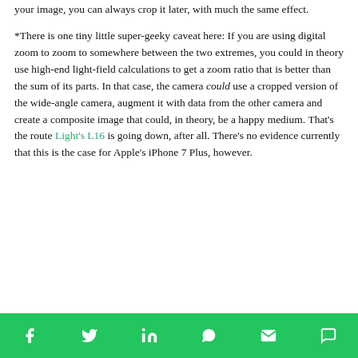your image, you can always crop it later, with much the same effect.
*There is one tiny little super-geeky caveat here: If you are using digital zoom to zoom to somewhere between the two extremes, you could in theory use high-end light-field calculations to get a zoom ratio that is better than the sum of its parts. In that case, the camera could use a cropped version of the wide-angle camera, augment it with data from the other camera and create a composite image that could, in theory, be a happy medium. That’s the route Light’s L16 is going down, after all. There’s no evidence currently that this is the case for Apple’s iPhone 7 Plus, however.
Social share bar: Facebook, Twitter, LinkedIn, WhatsApp, Email, Comment